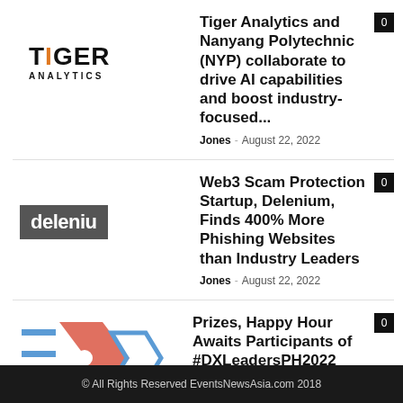[Figure (logo): Tiger Analytics logo - bold black text TIGER with orange I, and ANALYTICS in small caps below]
Tiger Analytics and Nanyang Polytechnic (NYP) collaborate to drive AI capabilities and boost industry-focused...
Jones - August 22, 2022
[Figure (logo): Delenium logo - white text on dark grey/charcoal background reading 'deleniu']
Web3 Scam Protection Startup, Delenium, Finds 400% More Phishing Websites than Industry Leaders
Jones - August 22, 2022
[Figure (logo): DX Leaders PH 2022 logo - geometric arrow/chevron design in blue and coral/salmon colors with text below]
Prizes, Happy Hour Awaits Participants of #DXLeadersPH2022
Jones - August 19, 2022
© All Rights Reserved EventsNewsAsia.com 2018